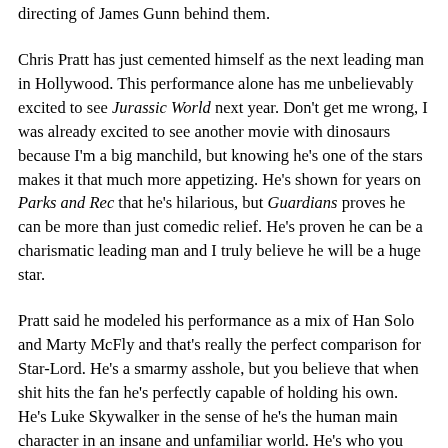directing of James Gunn behind them.
Chris Pratt has just cemented himself as the next leading man in Hollywood. This performance alone has me unbelievably excited to see Jurassic World next year. Don't get me wrong, I was already excited to see another movie with dinosaurs because I'm a big manchild, but knowing he's one of the stars makes it that much more appetizing. He's shown for years on Parks and Rec that he's hilarious, but Guardians proves he can be more than just comedic relief. He's proven he can be a charismatic leading man and I truly believe he will be a huge star.
Pratt said he modeled his performance as a mix of Han Solo and Marty McFly and that's really the perfect comparison for Star-Lord. He's a smarmy asshole, but you believe that when shit hits the fan he's perfectly capable of holding his own. He's Luke Skywalker in the sense of he's the human main character in an insane and unfamiliar world. He's who you look to when everything is going bugnuts insane. When the raccoon is devising an elaborate escape from space jail, he's your linchpin to center you. He's the focal point of all the